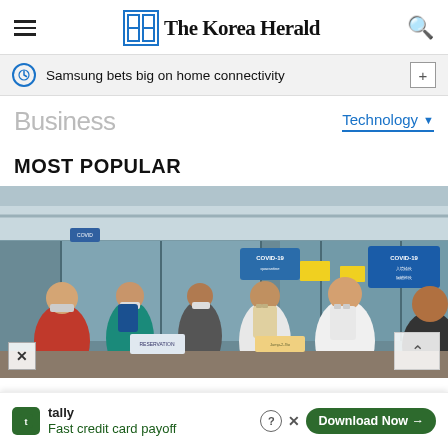The Korea Herald
Samsung bets big on home connectivity
Business
Technology
MOST POPULAR
[Figure (photo): People wearing masks queue at an airport terminal area with COVID-19 signage visible on doors and barriers. Travelers with backpacks and luggage are seen from behind waiting in line.]
tally Fast credit card payoff Download Now